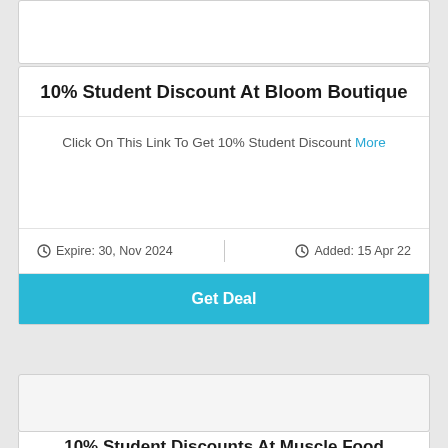10% Student Discount At Bloom Boutique
Click On This Link To Get 10% Student Discount More
Expire: 30, Nov 2024
Added: 15 Apr 22
Get Deal
10% Student Discounts At Muscle Food